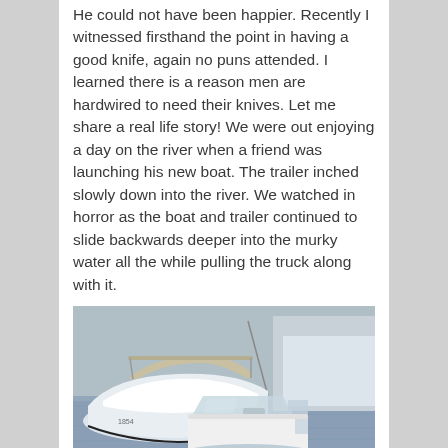He could not have been happier. Recently I witnessed firsthand the point in having a good knife, again no puns attended. I learned there is a reason men are hardwired to need their knives. Let me share a real life story! We were out enjoying a day on the river when a friend was launching his new boat. The trailer inched slowly down into the river. We watched in horror as the boat and trailer continued to slide backwards deeper into the murky water all the while pulling the truck along with it.
[Figure (photo): A white motorboat floating in water next to a white SUV/truck that is nearly fully submerged, with only the roof and upper portion visible above the murky water surface.]